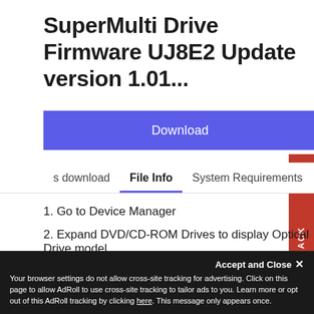SuperMulti Drive Firmware UJ8E2 Update version 1.01...
Download
s download	File Info	System Requirements
1. Go to Device Manager
2. Expand DVD/CD-ROM Drives to display Optical Drive model.
Install
Details
Accept and Close ✕
Your browser settings do not allow cross-site tracking for advertising. Click on this page to allow AdRoll to use cross-site tracking to tailor ads to you. Learn more or opt out of this AdRoll tracking by clicking here. This message only appears once.